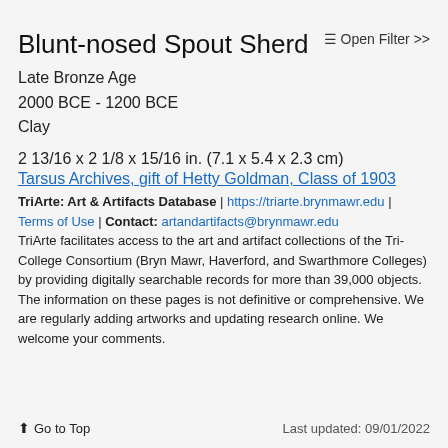Blunt-nosed Spout Sherd
≡ Open Filter >>
Late Bronze Age
2000 BCE - 1200 BCE
Clay
2 13/16 x 2 1/8 x 15/16 in. (7.1 x 5.4 x 2.3 cm)
Tarsus Archives, gift of Hetty Goldman, Class of 1903
TriArte: Art & Artifacts Database | https://triarte.brynmawr.edu | Terms of Use | Contact: artandartifacts@brynmawr.edu
TriArte facilitates access to the art and artifact collections of the Tri-College Consortium (Bryn Mawr, Haverford, and Swarthmore Colleges) by providing digitally searchable records for more than 39,000 objects. The information on these pages is not definitive or comprehensive. We are regularly adding artworks and updating research online. We welcome your comments.
↑ Go to Top    Last updated: 09/01/2022